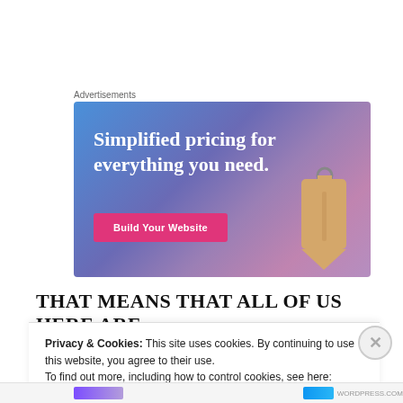Advertisements
[Figure (illustration): Advertisement banner with gradient blue-purple background. Text reads 'Simplified pricing for everything you need.' with a pink 'Build Your Website' button and a price tag illustration on the right.]
THAT MEANS THAT ALL OF US HERE ARE
Privacy & Cookies: This site uses cookies. By continuing to use this website, you agree to their use.
To find out more, including how to control cookies, see here: Cookie Policy
Close and accept